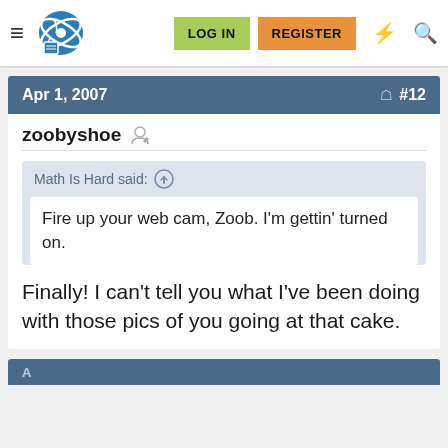LOG IN  REGISTER
Apr 1, 2007  #12
zoobyshoe
Math Is Hard said:
Fire up your web cam, Zoob. I'm gettin' turned on.
Finally! I can't tell you what I've been doing with those pics of you going at that cake.